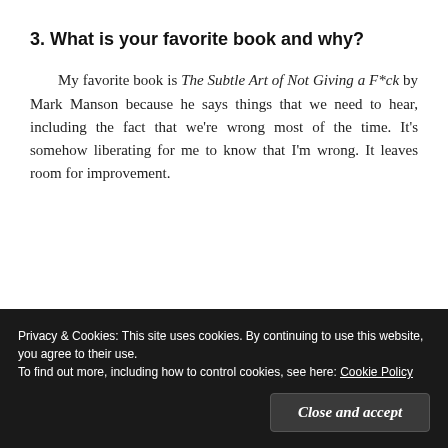3. What is your favorite book and why?
My favorite book is The Subtle Art of Not Giving a F*ck by Mark Manson because he says things that we need to hear, including the fact that we're wrong most of the time. It's somehow liberating for me to know that I'm wrong. It leaves room for improvement.
Privacy & Cookies: This site uses cookies. By continuing to use this website, you agree to their use. To find out more, including how to control cookies, see here: Cookie Policy
Close and accept